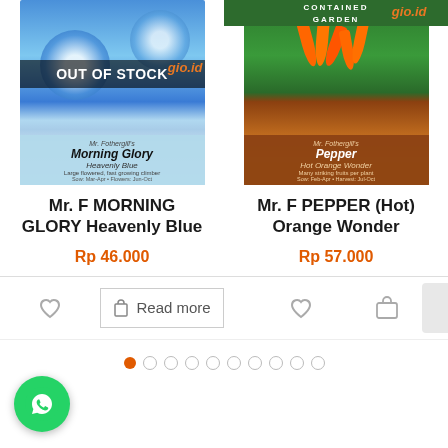[Figure (photo): Morning Glory Heavenly Blue seed packet showing blue flowers, with OUT OF STOCK overlay and gio.id watermark]
[Figure (photo): Mr. Fothergill's Pepper Hot Orange Wonder seed packet showing orange pepper plants, Contained Garden label at top, gio.id watermark]
Mr. F MORNING GLORY Heavenly Blue
Mr. F PEPPER (Hot) Orange Wonder
Rp 46.000
Rp 57.000
Read more
[Figure (logo): WhatsApp green circular button icon]
Pagination dots: 1 active, 9 inactive